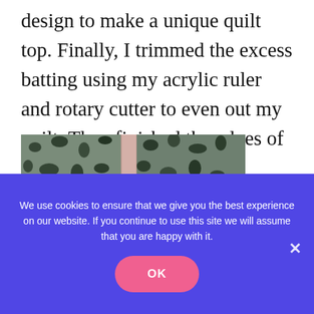design to make a unique quilt top. Finally, I trimmed the excess batting using my acrylic ruler and rotary cutter to even out my quilt. Then finished the edges of the quilt with bias binding. That's it!
[Figure (photo): Close-up photo of quilt fabric showing green and black mottled/speckled pattern fabric pieces laid together]
We use cookies to ensure that we give you the best experience on our website. If you continue to use this site we will assume that you are happy with it.